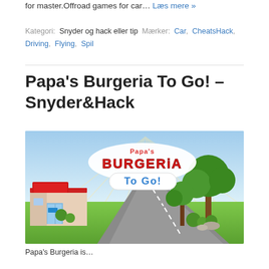for master.Offroad games for car… Læs mere »
Kategori: Snyder og hack eller tip  Mærker: Car, CheatsHack, Driving, Flying, Spil
Papa's Burgeria To Go! – Snyder&Hack
[Figure (photo): Papa's Burgeria To Go! game logo/splash screen showing the game title with a burger restaurant building on the left, trees on the right, and a road in the background]
Papa's Burgeria is...